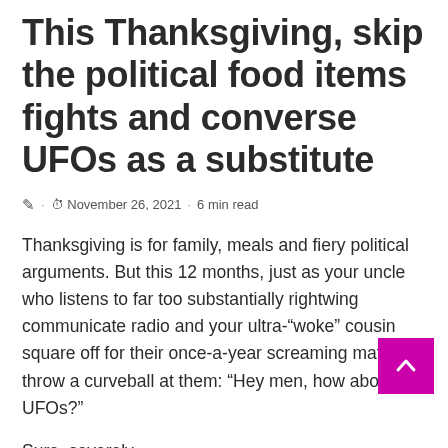This Thanksgiving, skip the political food items fights and converse UFOs as a substitute
✎ · ⏱ November 26, 2021 · 6 min read
Thanksgiving is for family, meals and fiery political arguments. But this 12 months, just as your uncle who listens to far too substantially rightwing communicate radio and your ultra-"woke" cousin square off for their once-a-year screaming match, throw a curveball at them: "Hey men, how about UFOs?"
Sure, severely.
If you inject UFOs into the dialogue at just the correct minute, this Thanksgiving guarantees to mark a